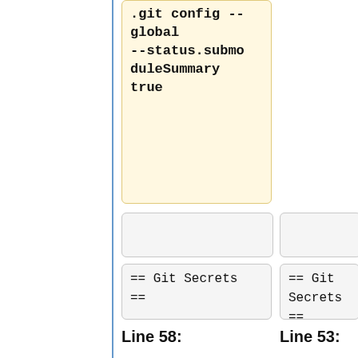.git config --global --status.submoduleSummary true
== Git Secrets ==
== Git Secrets ==
Line 58:
Line 53:
You can read a bit more of the docs in the _git secrets_ repo and configure a more fine grained
You can read a bit more of the docs in the _git secrets_ repo and configure a more fine grained